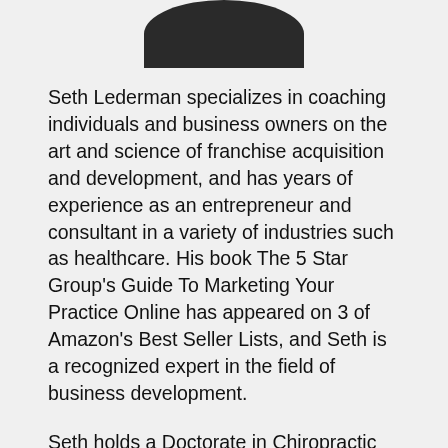[Figure (photo): Partial photo of Seth Lederman, showing bottom of portrait, cropped at top of page]
Seth Lederman specializes in coaching individuals and business owners on the art and science of franchise acquisition and development, and has years of experience as an entrepreneur and consultant in a variety of industries such as healthcare. His book The 5 Star Group's Guide To Marketing Your Practice Online has appeared on 3 of Amazon's Best Seller Lists, and Seth is a recognized expert in the field of business development.
Seth holds a Doctorate in Chiropractic and Sports Medicine from New York Chiropractic College, and a BA in Biology and Psychology from the State University of New York at Albany, and hold a certification in Franchise Sales Compliance and is a Franchise Immigration